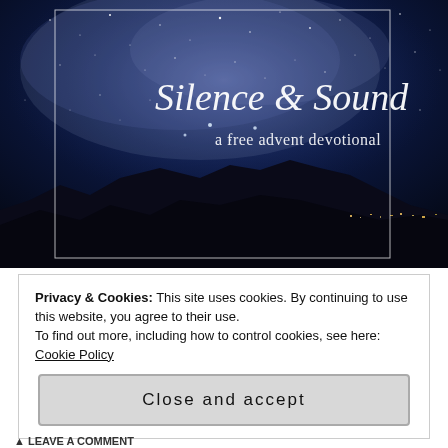[Figure (illustration): Night sky photo showing the Milky Way over mountain silhouettes with city lights on the horizon. White cursive text reads 'Silence & Sound' with subtitle 'a free advent devotional'. A thin white rectangle border frames the inner portion of the image.]
Privacy & Cookies: This site uses cookies. By continuing to use this website, you agree to their use.
To find out more, including how to control cookies, see here: Cookie Policy
Close and accept
▲ LEAVE A COMMENT